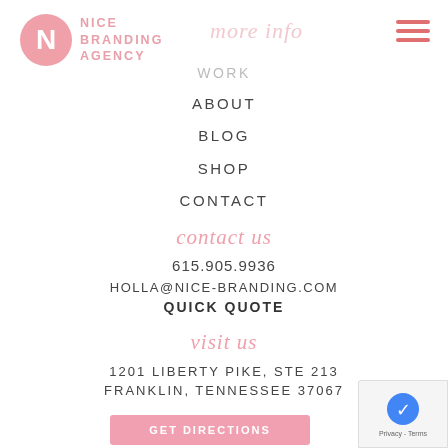[Figure (logo): Nice Branding Agency logo: pink circle with white N, pink text reading NICE BRANDING AGENCY]
more info
[Figure (other): Hamburger menu icon with three pink horizontal lines]
WORK
ABOUT
BLOG
SHOP
CONTACT
contact us
615.905.9936
HOLLA@NICE-BRANDING.COM
QUICK QUOTE
visit us
1201 LIBERTY PIKE, STE 213
FRANKLIN, TENNESSEE 37067
GET DIRECTIONS